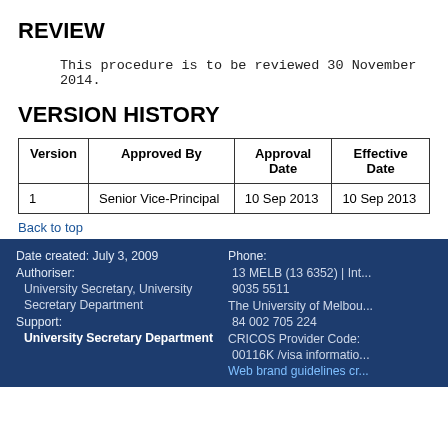REVIEW
This procedure is to be reviewed 30 November 2014.
VERSION HISTORY
| Version | Approved By | Approval Date | Effective Date |
| --- | --- | --- | --- |
| 1 | Senior Vice-Principal | 10 Sep 2013 | 10 Sep 2013 |
Back to top
Date created: July 3, 2009 | Authoriser: | University Secretary, University | Secretary Department | Support: | University Secretary Department | Phone: | 13 MELB (13 6352) | Int... | 9035 5511 | The University of Melbourn... | 84 002 705 224 | CRICOS Provider Code: | 00116K /visa informatio... | Web brand guidelines cr...